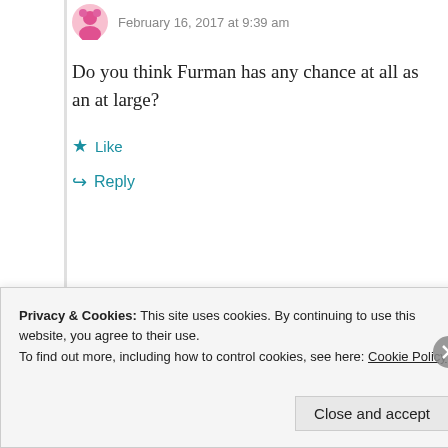February 16, 2017 at 9:39 am
Do you think Furman has any chance at all as an at large?
Like
Reply
John Templon
Privacy & Cookies: This site uses cookies. By continuing to use this website, you agree to their use.
To find out more, including how to control cookies, see here: Cookie Policy
Close and accept